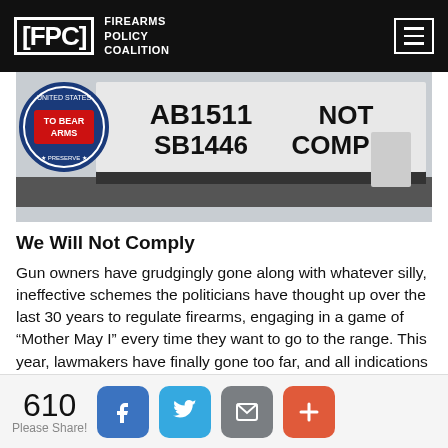FPC FIREARMS POLICY COALITION
[Figure (photo): Protest banner reading 'TO BEAR ARMS', 'AB1511 SB1446', 'NOT COMPLY' with a United States seal/emblem on the left]
We Will Not Comply
Gun owners have grudgingly gone along with whatever silly, ineffective schemes the politicians have thought up over the last 30 years to regulate firearms, engaging in a game of “Mother May I” every time they want to go to the range. This year, lawmakers have finally gone too far, and all indications are that gun owners are done complying. Why should they?
610 Please Share!